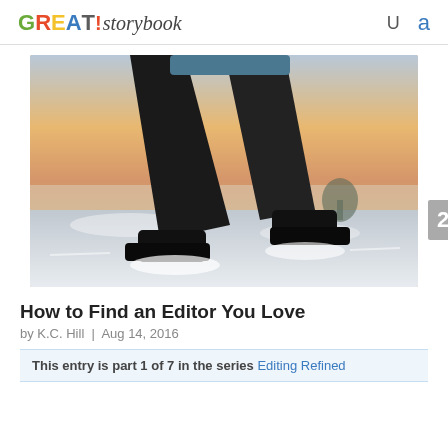GREAT!storybook
[Figure (photo): Close-up photo of a person's legs wearing dark pants and boots, walking through deep snow, with a golden sunset sky in the background.]
How to Find an Editor You Love
by K.C. Hill | Aug 14, 2016
This entry is part 1 of 7 in the series Editing Refined